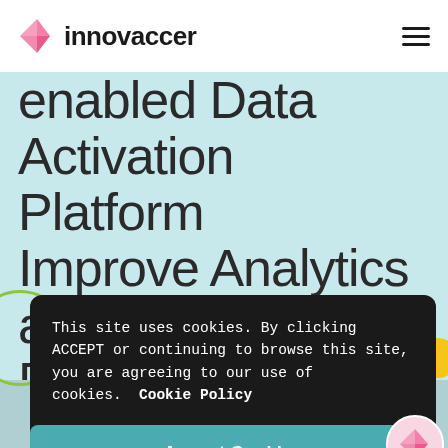innovaccer
enabled Data Activation Platform Improve Analytics and Data Sharing?
This site uses cookies. By clicking ACCEPT or continuing to browse this site, you are agreeing to our use of cookies.  Cookie Policy
Accept Cookies